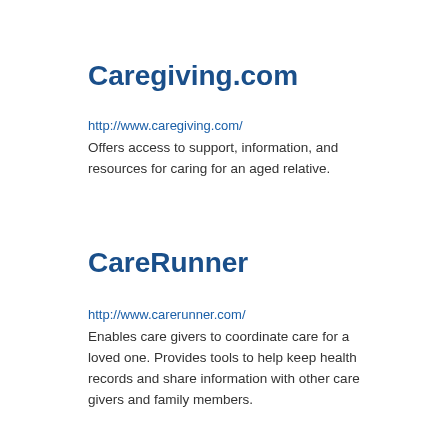Caregiving.com
http://www.caregiving.com/
Offers access to support, information, and resources for caring for an aged relative.
CareRunner
http://www.carerunner.com/
Enables care givers to coordinate care for a loved one. Provides tools to help keep health records and share information with other care givers and family members.